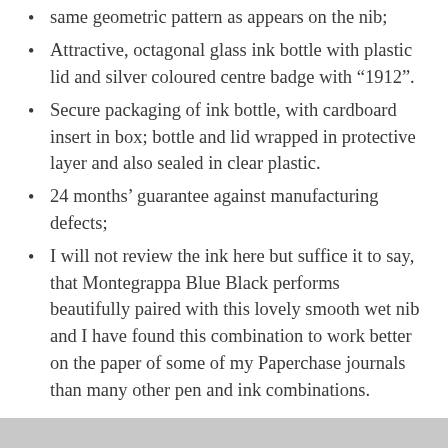same geometric pattern as appears on the nib;
Attractive, octagonal glass ink bottle with plastic lid and silver coloured centre badge with “1912”.
Secure packaging of ink bottle, with cardboard insert in box; bottle and lid wrapped in protective layer and also sealed in clear plastic.
24 months’ guarantee against manufacturing defects;
I will not review the ink here but suffice it to say, that Montegrappa Blue Black performs beautifully paired with this lovely smooth wet nib and I have found this combination to work better on the paper of some of my Paperchase journals than many other pen and ink combinations.